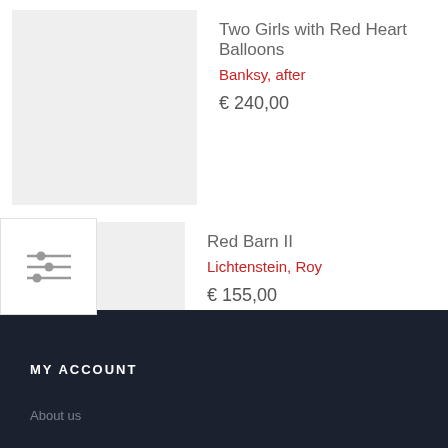[Figure (other): Product thumbnail image placeholder (light gray box) for Two Girls with Red Heart Balloons]
Two Girls with Red Heart Balloons
Banksy, after
€ 240,00
[Figure (other): Filter/settings icon with three horizontal sliders, overlaid on product area]
[Figure (other): Product thumbnail image placeholder (light gray box) for Red Barn II]
Red Barn II
Lichtenstein, Roy
€ 155,00
MY ACCOUNT
About us